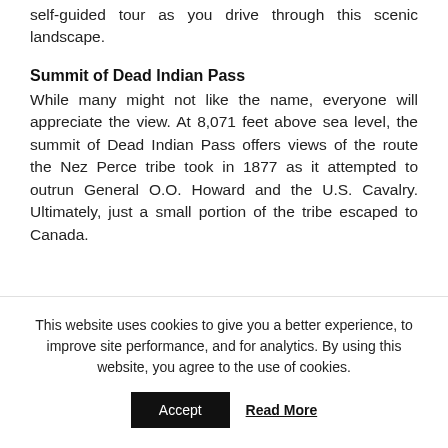self-guided tour as you drive through this scenic landscape.
Summit of Dead Indian Pass
While many might not like the name, everyone will appreciate the view. At 8,071 feet above sea level, the summit of Dead Indian Pass offers views of the route the Nez Perce tribe took in 1877 as it attempted to outrun General O.O. Howard and the U.S. Cavalry. Ultimately, just a small portion of the tribe escaped to Canada.
This website uses cookies to give you a better experience, to improve site performance, and for analytics. By using this website, you agree to the use of cookies.